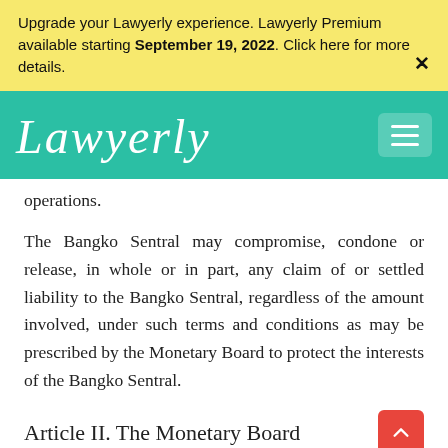Upgrade your Lawyerly experience. Lawyerly Premium available starting September 19, 2022. Click here for more details.
[Figure (logo): Lawyerly logo in white cursive script on teal background with hamburger menu button]
operations.
The Bangko Sentral may compromise, condone or release, in whole or in part, any claim of or settled liability to the Bangko Sentral, regardless of the amount involved, under such terms and conditions as may be prescribed by the Monetary Board to protect the interests of the Bangko Sentral.
Article II. The Monetary Board